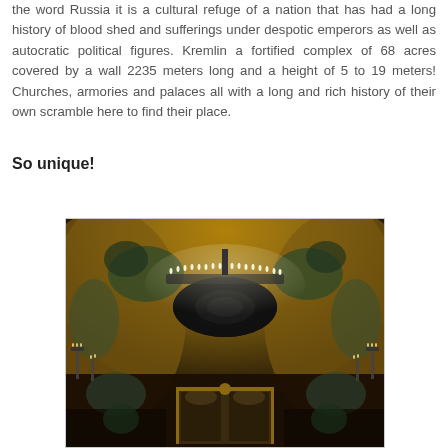the word Russia it is a cultural refuge of a nation that has had a long history of blood shed and sufferings under despotic emperors as well as autocratic political figures. Kremlin a fortified complex of 68 acres covered by a wall 2235 meters long and a height of 5 to 19 meters! Churches, armories and palaces all with a long and rich history of their own scramble here to find their place.
So unique!
[Figure (photo): Interior of an ornate Orthodox church with a large chandelier hanging from a decorated golden ceiling with frescoes and murals; candlelit chandeliers visible on the sides; ornate iconostasis in the background.]